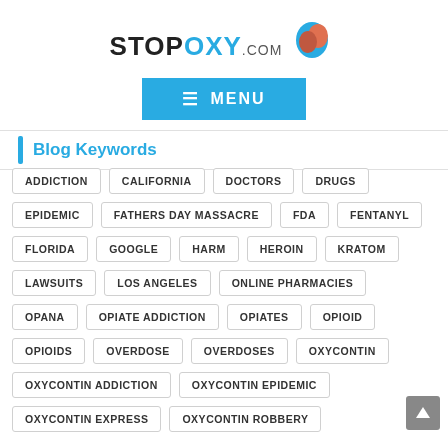STOPOXY.com — MENU
Blog Keywords
ADDICTION
CALIFORNIA
DOCTORS
DRUGS
EPIDEMIC
FATHERS DAY MASSACRE
FDA
FENTANYL
FLORIDA
GOOGLE
HARM
HEROIN
KRATOM
LAWSUITS
LOS ANGELES
ONLINE PHARMACIES
OPANA
OPIATE ADDICTION
OPIATES
OPIOID
OPIOIDS
OVERDOSE
OVERDOSES
OXYCONTIN
OXYCONTIN ADDICTION
OXYCONTIN EPIDEMIC
OXYCONTIN EXPRESS
OXYCONTIN ROBBERY
PERDUE PHARMA
PHARMA
PILL MILL
PRESCRIPTION ADDICTION